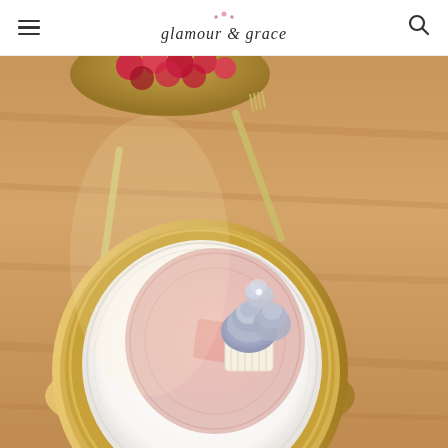glamour & grace
[Figure (photo): Close-up photograph of an elegant table setting with a gold charger plate, white dinner plate, and pink decorative glass plate on a wooden table. A small cupcake with lavender/grey frosting and a flower decoration sits on the plate. A gold fork and knife are visible in the background. A gold bowl with raspberries is partially visible at the top of the image.]